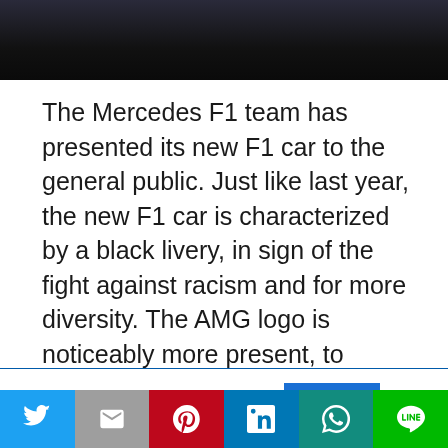[Figure (photo): Dark background image at top of page, appears to be a racing car or related subject in dark tones]
The Mercedes F1 team has presented its new F1 car to the general public. Just like last year, the new F1 car is characterized by a black livery, in sign of the fight against racism and for more diversity. The AMG logo is noticeably more present, to emphasize the more intense collaboration between Mercedes and AMG.
This website uses cookies.
[Figure (infographic): Social sharing bar with Twitter, Email, Pinterest, LinkedIn, WhatsApp, and Line buttons]